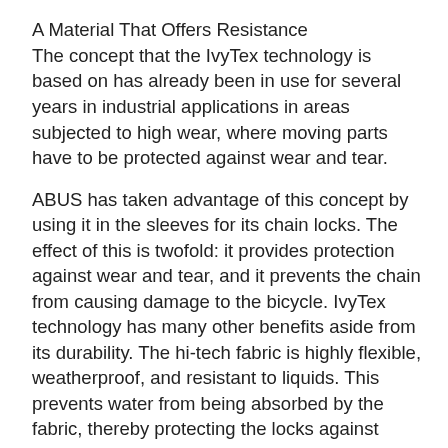A Material That Offers Resistance
The concept that the IvyTex technology is based on has already been in use for several years in industrial applications in areas subjected to high wear, where moving parts have to be protected against wear and tear.
ABUS has taken advantage of this concept by using it in the sleeves for its chain locks. The effect of this is twofold: it provides protection against wear and tear, and it prevents the chain from causing damage to the bicycle. IvyTex technology has many other benefits aside from its durability. The hi-tech fabric is highly flexible, weatherproof, and resistant to liquids. This prevents water from being absorbed by the fabric, thereby protecting the locks against corrosion. Its durability also means that there's no excuse for not securing your bicycle, even if the weather is bad and you worry about the lock getting dirty.
- 6mm square chain with functional, long-lasting, and highly flexible mesh sleeve to prevent damage to the